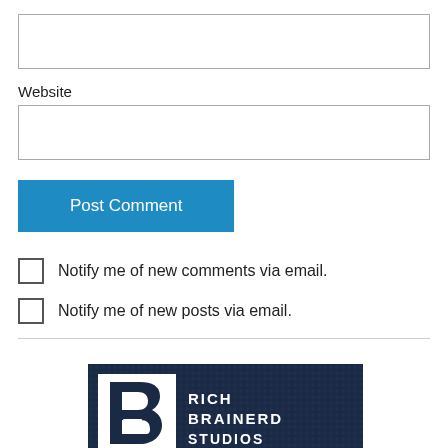Website
Post Comment
Notify me of new comments via email.
Notify me of new posts via email.
[Figure (logo): Rich Brainerd Studios logo: dark textured background with stylized B letter icon on white square and text RICH BRAINERD STUDIOS in white]